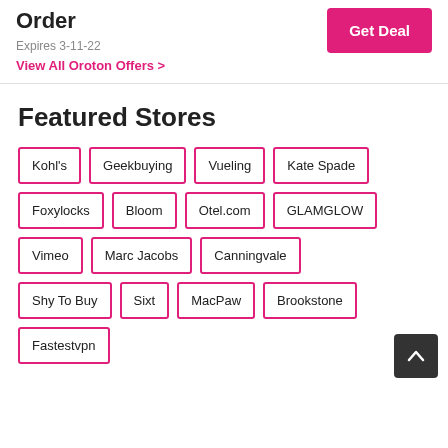Order
Expires 3-11-22
View All Oroton Offers >
Featured Stores
Kohl's
Geekbuying
Vueling
Kate Spade
Foxylocks
Bloom
Otel.com
GLAMGLOW
Vimeo
Marc Jacobs
Canningvale
Shy To Buy
Sixt
MacPaw
Brookstone
Fastestvpn